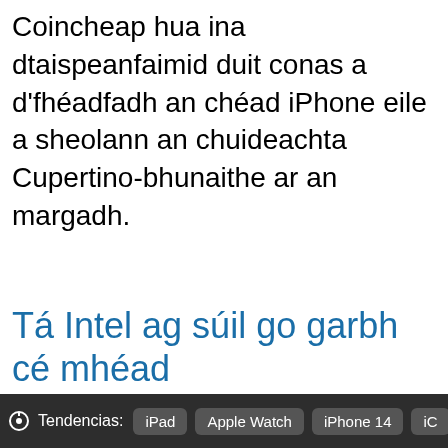Coincheap hua ina dtaispeanfaimid duit conas a d'fhéadfadh an chéad iPhone eile a sheolann an chuideachta Cupertino-bhunaithe ar an margadh.
Tá Intel ag súil go garbh cé mhéad
Tendencias: iPad  Apple Watch  iPhone 14  iC